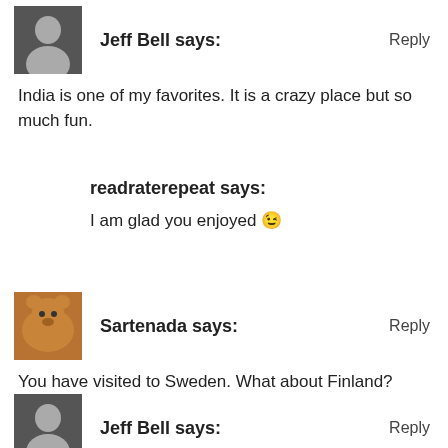[Figure (photo): Avatar photo of Jeff Bell — person in dark clothing]
Jeff Bell says:
Reply
India is one of my favorites. It is a crazy place but so much fun.
readraterepeat says:
I am glad you enjoyed 😉
[Figure (photo): Avatar photo of Sartenada — bear or animal image]
Sartenada says:
Reply
You have visited to Sweden. What about Finland?
[Figure (photo): Avatar photo of Jeff Bell — person in dark clothing]
Jeff Bell says:
Reply